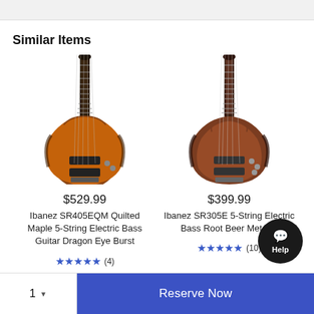Similar Items
[Figure (photo): Ibanez SR405EQM Quilted Maple 5-String Electric Bass Guitar Dragon Eye Burst - brown/amber sunburst finish]
$529.99
Ibanez SR405EQM Quilted Maple 5-String Electric Bass Guitar Dragon Eye Burst
★★★★★ (4)
[Figure (photo): Ibanez SR305E 5-String Electric Bass Root Beer Metallic - brown metallic finish]
$399.99
Ibanez SR305E 5-String Electric Bass Root Beer Metallic
★★★★½ (10)
1 ▼
Reserve Now